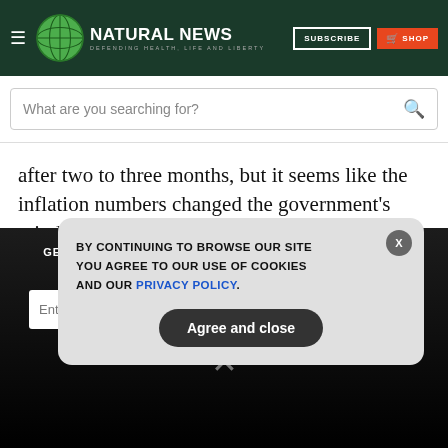Natural News — DEFENDING HEALTH, LIFE AND LIBERTY
after two to three months, but it seems like the inflation numbers changed the government's mind," a Mumbai-based dealer with a global trading firm remarked.
Increasing food and energy prices drove India's yearly retail
GET THE WORLD'S BEST NATURAL HEALTH NEWSLETTER DELIVERED STRAIGHT TO YOUR INBOX
BY CONTINUING TO BROWSE OUR SITE YOU AGREE TO OUR USE OF COOKIES AND OUR PRIVACY POLICY.
Agree and close